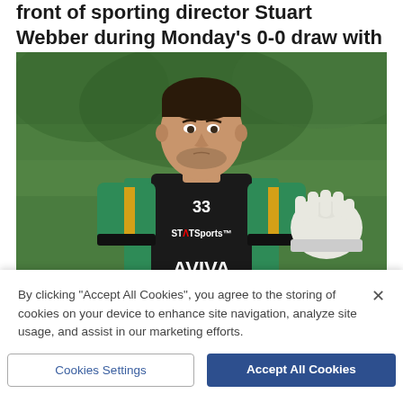front of sporting director Stuart Webber during Monday's 0-0 draw with Brighton at Carrow Road.
[Figure (photo): A footballer wearing a green and black jersey with number 33 and STATSports and AVIVA branding, wearing white goalkeeper gloves, photographed during training with a blurred green background.]
By clicking "Accept All Cookies", you agree to the storing of cookies on your device to enhance site navigation, analyze site usage, and assist in our marketing efforts.
Cookies Settings
Accept All Cookies